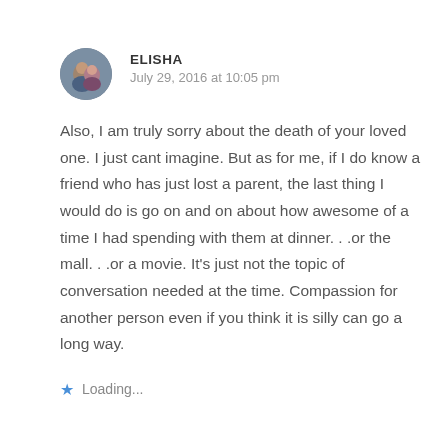[Figure (illustration): Circular avatar photo showing a couple, man and woman, used as commenter profile picture]
ELISHA
July 29, 2016 at 10:05 pm
Also, I am truly sorry about the death of your loved one. I just cant imagine. But as for me, if I do know a friend who has just lost a parent, the last thing I would do is go on and on about how awesome of a time I had spending with them at dinner. . .or the mall. . .or a movie. It's just not the topic of conversation needed at the time. Compassion for another person even if you think it is silly can go a long way.
Loading...